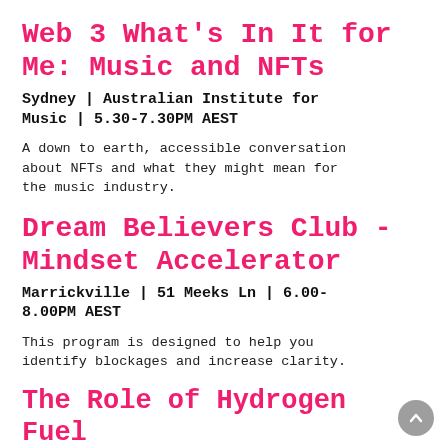Web 3 What's In It for Me: Music and NFTs
Sydney | Australian Institute for Music | 5.30-7.30PM AEST
A down to earth, accessible conversation about NFTs and what they might mean for the music industry.
Dream Believers Club - Mindset Accelerator
Marrickville | 51 Meeks Ln | 6.00-8.00PM AEST
This program is designed to help you identify blockages and increase clarity.
The Role of Hydrogen Fuel